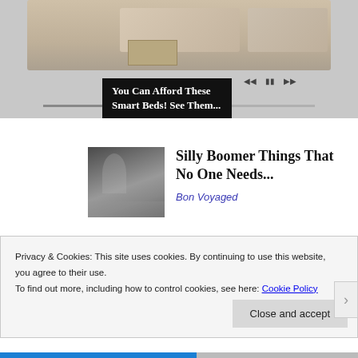[Figure (screenshot): Advertisement showing a smart bed with storage drawers, media playback controls, and a progress bar slider at the bottom. Black overlay caption reads 'You Can Afford These Smart Beds! See Them...']
You Can Afford These Smart Beds! See Them...
[Figure (photo): Black and white photo of a woman in a patterned dress standing in a kitchen]
Silly Boomer Things That No One Needs...
Bon Voyaged
Privacy & Cookies: This site uses cookies. By continuing to use this website, you agree to their use.
To find out more, including how to control cookies, see here: Cookie Policy
Close and accept